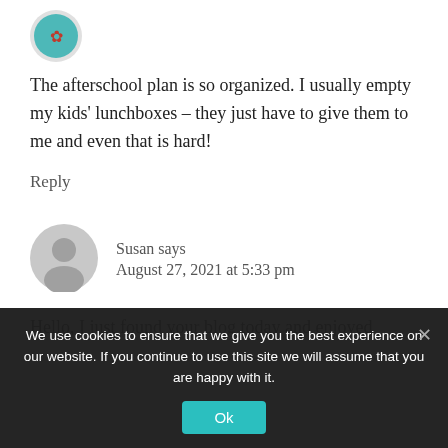[Figure (illustration): Partial avatar image at top left, partially cropped, appears to be a round logo or user avatar in teal/red colors]
The afterschool plan is so organized. I usually empty my kids' lunchboxes – they just have to give them to me and even that is hard!
Reply
[Figure (illustration): Gray circular default user avatar SVG icon for commenter Susan]
Susan says
August 27, 2021 at 5:33 pm
Hello, I just found your blog today and enjoyed
We use cookies to ensure that we give you the best experience on our website. If you continue to use this site we will assume that you are happy with it.
Ok